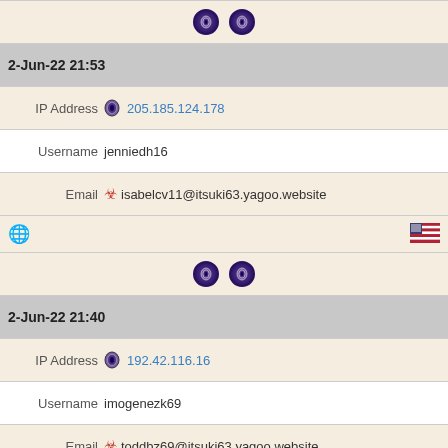| (icons row - top) |
| 2-Jun-22 21:53 |
| IP Address | 205.185.124.178 |
| Username | jenniedh16 |
| Email | isabelcv11@itsuki63.yagoo.website |
| (globe + flag US) |
| (double icons) |
| 2-Jun-22 21:40 |
| IP Address | 192.42.116.16 |
| Username | imogenezk69 |
| Email | toddbz69@itsuki63.yagoo.website |
| (globe + flag NL) |
| (double icons) |
| 2-Jun-22 21:34 |
| IP Address | 51.15.227.109 |
| Username | bettyht2 |
| Email | katharineoz4@itsuki63.yagoo.website |